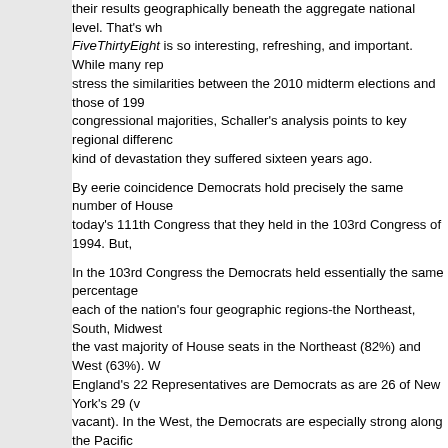their results geographically beneath the aggregate national level. That's why FiveThirtyEight is so interesting, refreshing, and important. While many reporters stress the similarities between the 2010 midterm elections and those of 1994 and congressional majorities, Schaller's analysis points to key regional differences kind of devastation they suffered sixteen years ago.
By eerie coincidence Democrats hold precisely the same number of House today's 111th Congress that they held in the 103rd Congress of 1994. But,
In the 103rd Congress the Democrats held essentially the same percentage each of the nation's four geographic regions-the Northeast, South, Midwest the vast majority of House seats in the Northeast (82%) and West (63%). W England's 22 Representatives are Democrats as are 26 of New York's 29 (v vacant). In the West, the Democrats are especially strong along the Pacific 4 of Oregon's 5, and 6 of Washington's 9.
By contrast, the Democrats hold 55% of Midwestern House seats, slightly le the big change has been in the South. Now, only 43% of Southern Represe 1994 when 60% were. It was, in fact, the 1994 election that finally flipped th majority Democratic to majority Republican. In other words, as Schaller's a coalitions [in 1994 and in 2010] are not the same geographically."
The alteration in the regional composition of the two party coalitions descri demographic and political changes that have been portrayed in detail by ND research conducted this year in connection with that project both reflects an two parties in Congress has been altered so significantly since 1994. As the Northeast and West contain the greatest number of voters who identify with followed closely by the Midwest. By contrast, the South contains the fewest plurality identifies with or leans toward the GOP
|  | Total Electorate | Northeast | Midwest | West (partial) |
| --- | --- | --- | --- | --- |
| Democrat | 47% | 49% | 48% | 49% |